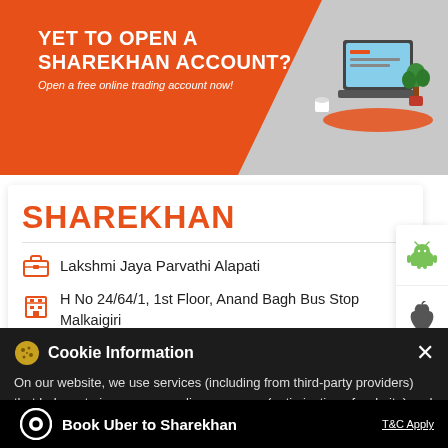[Figure (illustration): Orange banner with Sharekhan account promotion. White text 'YET TO OPEN A SHAREKHAN ACCOUNT?' and italic 'Open a free online trading account now!' with a laptop/plant isometric illustration on the right.]
SHAREKHAN
Lakshmi Jaya Parvathi Alapati
H No 24/64/1, 1st Floor, Anand Bagh Bus Stop Malkaigiri
Hyderabad – 500047
Above Ruchika Swagruha Foods
Closed for the day
Cookie Information
On our website, we use services (including from third-party providers) that help us to improve our online presence (optimization of website) and to display content that is geared to their interests. We need your consent before being able to use these services.
Book Uber to Sharekhan
T&C Apply